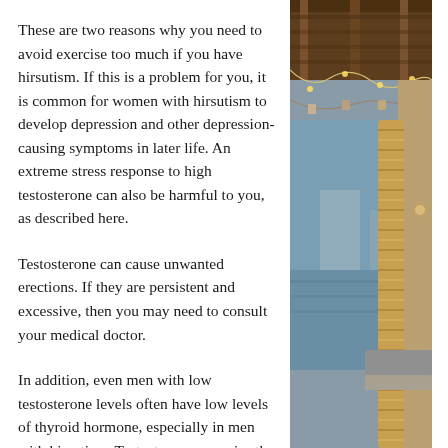These are two reasons why you need to avoid exercise too much if you have hirsutism. If this is a problem for you, it is common for women with hirsutism to develop depression and other depression-causing symptoms in later life. An extreme stress response to high testosterone can also be harmful to you, as described here.
Testosterone can cause unwanted erections. If they are persistent and excessive, then you may need to consult your medical doctor.
In addition, even men with low testosterone levels often have low levels of thyroid hormone, especially in men with hirsutism. Testosterone can raise the production of thyroid hormone too much in men with hirsutism. Thyroid hormone levels are high in men with hirsutism.
[Figure (photo): Outdoor photo showing a wooden structure with hanging string lights and decorations, a woven/braided rope column in the foreground, and a scenic waterfront or outdoor venue in the background.]